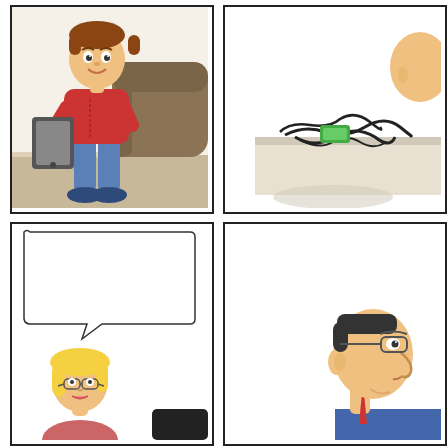[Figure (illustration): Comic panel top-left: cartoon boy in red shirt and blue jeans holding a tablet/iPad, standing in front of a brown couch in a living room setting]
[Figure (illustration): Comic panel top-right: partial view of a person and tangled cables/wires with a green object on a table]
[Figure (illustration): Comic panel bottom-left: speech bubble from a blonde woman saying 'I would like to sign up for the Business Analyst Certification Boot Camp. It will help me be more efficient when dealing with our clients.' Blonde woman visible at bottom.]
[Figure (illustration): Comic panel bottom-right: partial view of a man with glasses seen from the side/neck up, wearing a blue shirt/tie]